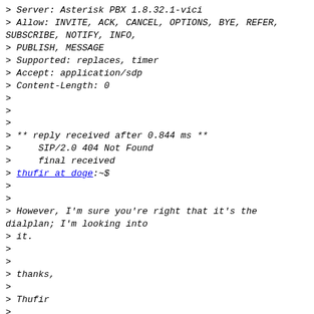> Server: Asterisk PBX 1.8.32.1-vici
> Allow: INVITE, ACK, CANCEL, OPTIONS, BYE, REFER, SUBSCRIBE, NOTIFY, INFO,
> PUBLISH, MESSAGE
> Supported: replaces, timer
> Accept: application/sdp
> Content-Length: 0
>
>
>
> ** reply received after 0.844 ms **
>     SIP/2.0 404 Not Found
>     final received
> thufir at doge:~$
>
>
> However, I'm sure you're right that it's the dialplan; I'm looking into
> it.
>
>
> thanks,
>
> Thufir
>
>
--
Technical Support